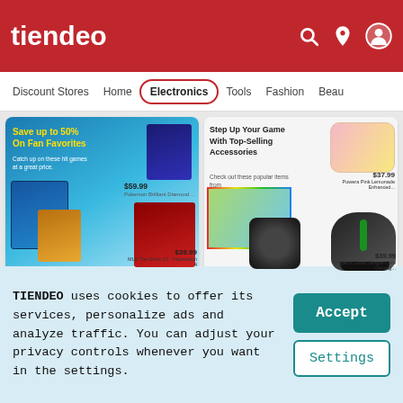tiendeo
Discount Stores | Home | Electronics | Tools | Fashion | Beau...
[Figure (screenshot): GameStop Weekly ad - Save up to 50% On Fan Favorites with game boxes]
Game Stop
GameStop Weekly
[Figure (screenshot): GameStop Weekly ad - Step Up Your Game With Top-Selling Accessories]
Game Stop
GameStop Weekly
TIENDEO uses cookies to offer its services, personalize ads and analyze traffic. You can adjust your privacy controls whenever you want in the settings.